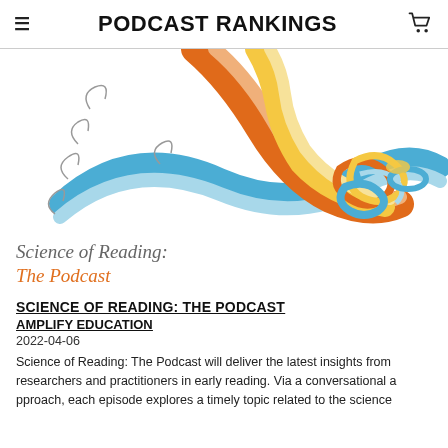PODCAST RANKINGS
[Figure (illustration): Colorful intertwined ribbon/DNA-like strands in orange, yellow, blue, and light blue on a white background, forming the cover art for Science of Reading: The Podcast]
Science of Reading:
The Podcast
SCIENCE OF READING: THE PODCAST
AMPLIFY EDUCATION
2022-04-06
Science of Reading: The Podcast will deliver the latest insights from researchers and practitioners in early reading. Via a conversational approach, each episode explores a timely topic related to the science